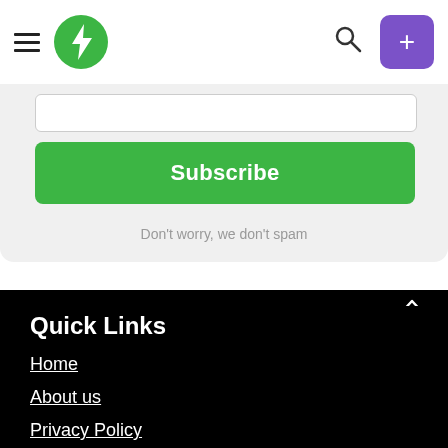Navigation bar with hamburger menu, green lightning bolt logo, search icon, and purple plus button
[Figure (screenshot): Input text field box (email subscription input)]
Subscribe
Don't worry, we don't spam
Quick Links
Home
About us
Privacy Policy